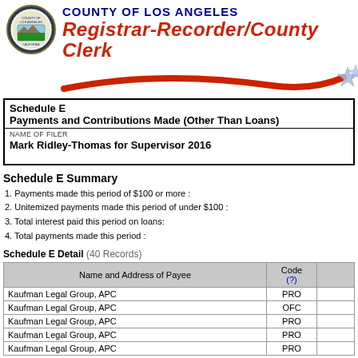[Figure (logo): County of Los Angeles seal logo]
COUNTY OF LOS ANGELES
Registrar-Recorder/County Clerk
[Figure (illustration): Red swoosh decorative bar with star]
Schedule E
Payments and Contributions Made (Other Than Loans)
NAME OF FILER
Mark Ridley-Thomas for Supervisor 2016
Schedule E Summary
1.  Payments made this period of $100 or more :
2.  Unitemized payments made this period of under $100 :
3.  Total interest paid this period on loans:
4.  Total payments made this period :
Schedule E Detail (40 Records)
| Name and Address of Payee | Code (?) |  |
| --- | --- | --- |
| Kaufman Legal Group, APC | PRO |  |
| Kaufman Legal Group, APC | OFC |  |
| Kaufman Legal Group, APC | PRO |  |
| Kaufman Legal Group, APC | PRO |  |
| Kaufman Legal Group, APC | PRO |  |